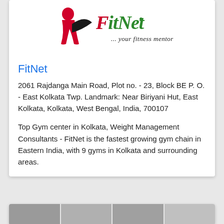[Figure (logo): FitNet logo with a stylized red figure and black swoosh, with green handwritten-style text reading 'FitNet' and tagline '... your fitness mentor']
FitNet
2061 Rajdanga Main Road, Plot no. - 23, Block BE P. O. - East Kolkata Twp. Landmark: Near Biriyani Hut, East Kolkata, Kolkata, West Bengal, India, 700107
Top Gym center in Kolkata, Weight Management Consultants - FitNet is the fastest growing gym chain in Eastern India, with 9 gyms in Kolkata and surrounding areas.
[Figure (photo): Bottom card showing gym interior photos]